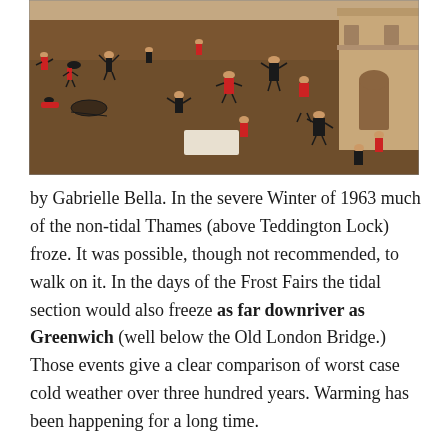[Figure (illustration): A historical painting showing people ice skating and engaging in winter activities on a frozen river or public space. The scene is busy with many figures in period costume, some wearing red cloaks, scattered across a dark brownish frozen surface. Buildings are visible on the right side. The style appears to be from the Dutch/Flemish old masters tradition, likely depicting a Frost Fair scene.]
by Gabrielle Bella. In the severe Winter of 1963 much of the non-tidal Thames (above Teddington Lock) froze. It was possible, though not recommended, to walk on it. In the days of the Frost Fairs the tidal section would also freeze as far downriver as Greenwich (well below the Old London Bridge.) Those events give a clear comparison of worst case cold weather over three hundred years. Warming has been happening for a long time.